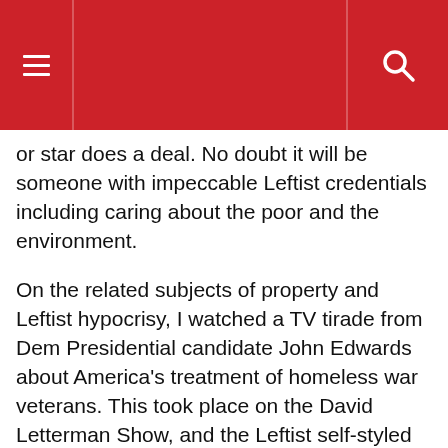☰ [menu] | 🔍 [search]
or star does a deal. No doubt it will be someone with impeccable Leftist credentials including caring about the poor and the environment.
On the related subjects of property and Leftist hypocrisy, I watched a TV tirade from Dem Presidential candidate John Edwards about America's treatment of homeless war veterans. This took place on the David Letterman Show, and the Leftist self-styled comedian joined in with Edwards by accusing Bill O'Reilly of being a known liar. Edwards and Letterman have been taken to task by Fox's straight-talking newsman, who has weighed in with ample facts that show that Edwards' assertions and outrage are without foundation for there are comprehensive services available to ex-servicemen.